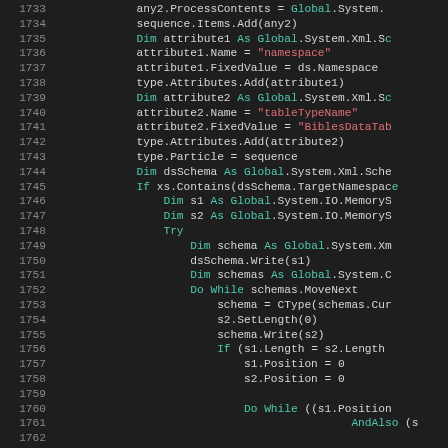[Figure (screenshot): Source code editor screenshot showing Visual Basic .NET code lines 1733–1762, with syntax highlighting: keywords in teal, string literals in pink/red, and plain identifiers in white/gray, on a dark background.]